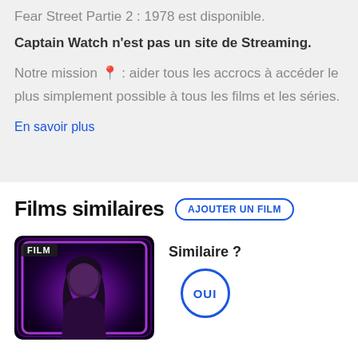Fear Street Partie 2 : 1978 est disponible.
Captain Watch n'est pas un site de Streaming.
Notre mission 🎯 : aider tous les accrocs à accéder le plus simplement possible à tous les films et les séries.
En savoir plus
Films similaires
[Figure (photo): Movie poster thumbnail with FILM badge, showing a woman with dark hair against a purple/pink neon background]
Similaire ?
OUI